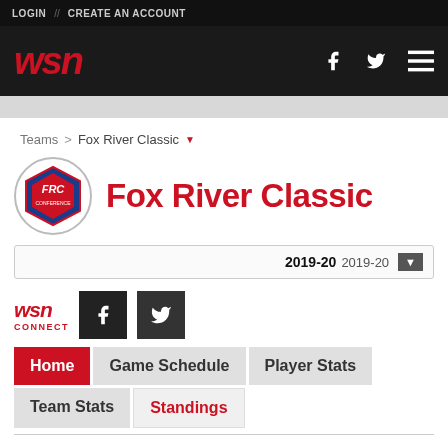LOGIN // CREATE AN ACCOUNT
[Figure (logo): WSN logo in red italic bold text on dark background with Facebook, Twitter, and menu icons]
Teams > Fox River Classic
Fox River Classic
2019-20 2019-20
[Figure (logo): WSN CONNECT logo with Facebook and Twitter social buttons]
Home
Game Schedule
Player Stats
Team Stats
Standings